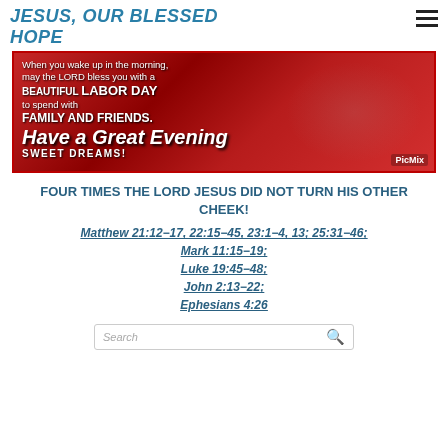JESUS, OUR BLESSED HOPE
[Figure (photo): Decorative banner image with red flowers background and white text: 'When you wake up in the morning, may the LORD bless you with a BEAUTIFUL LABOR DAY to spend with FAMILY AND FRIENDS. Have a Great Evening SWEET DREAMS!' with PicMix watermark.]
FOUR TIMES THE LORD JESUS DID NOT TURN HIS OTHER CHEEK!
Matthew 21:12-17, 22:15-45, 23:1-4, 13; 25:31-46; Mark 11:15-19; Luke 19:45-48; John 2:13-22; Ephesians 4:26